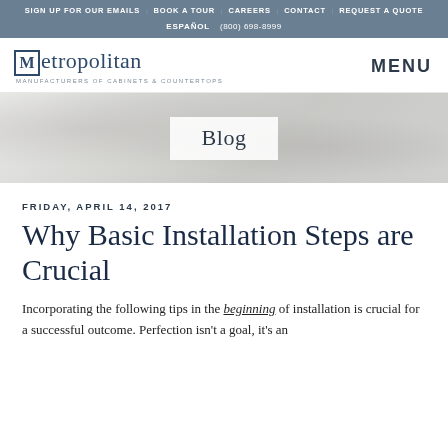SIGN UP FOR OUR EMAILS | BOOK A TOUR | CAREERS | CONTACT | REQUEST A QUOTE | ESPAÑOL | (800) 698-8999
[Figure (logo): Metropolitan Manufacturers of Cabinets & Countertops logo with M in a box and MENU navigation label]
[Figure (photo): White marble texture hero banner with 'Blog' label in a white box overlay]
FRIDAY, APRIL 14, 2017
Why Basic Installation Steps are Crucial
Incorporating the following tips in the beginning of installation is crucial for a successful outcome. Perfection isn't a goal, it's an